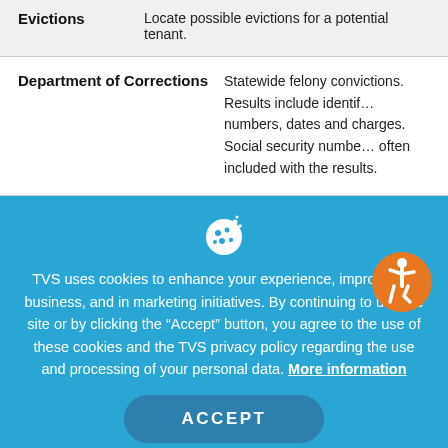| Category | Description |
| --- | --- |
| Evictions | Locate possible evictions for a potential tenant. |
| Department of Corrections | Statewide felony convictions. Results include identifying numbers, dates and charges. Social security numbers are often included with the results. |
TVS uses cookies to enhance your experience, improve our business, and in marketing initiatives. By continuing to use the site or by clicking the “Accept” button, you agree to the use of these cookies and the TVS privacy policy regarding the use and processing of your personal data. More information
ACCEPT